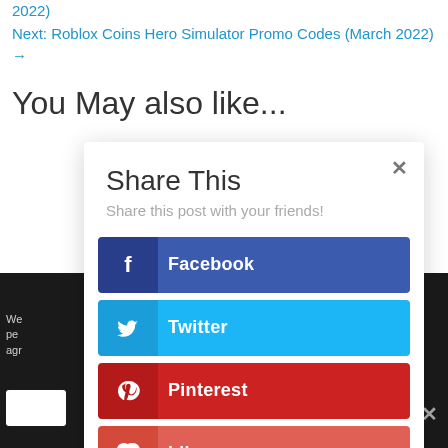2022)
Next: Roblox Coins Hero Simulator Promo Codes (March 2022) →
You May also like...
[Figure (infographic): Share This modal popup with close button, subtitle 'Share this post with your friends!', and four share buttons: Facebook (dark blue), Twitter (light blue), Pinterest (dark red), Like (coral/red-orange).]